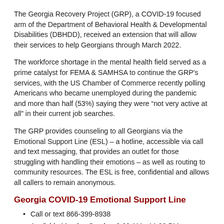The Georgia Recovery Project (GRP), a COVID-19 focused arm of the Department of Behavioral Health & Developmental Disabilities (DBHDD), received an extension that will allow their services to help Georgians through March 2022.
The workforce shortage in the mental health field served as a prime catalyst for FEMA & SAMHSA to continue the GRP's services, with the US Chamber of Commerce recently polling Americans who became unemployed during the pandemic and more than half (53%) saying they were "not very active at all" in their current job searches.
The GRP provides counseling to all Georgians via the Emotional Support Line (ESL) – a hotline, accessible via call and text messaging, that provides an outlet for those struggling with handling their emotions – as well as routing to community resources. The ESL is free, confidential and allows all callers to remain anonymous.
Georgia COVID-19 Emotional Support Line
Call or text 866-399-8938
Available Monday-Sunday, 8:00 AM - 11:00 PM
For more information, visit https://dbhdd.georgia.gov/be-